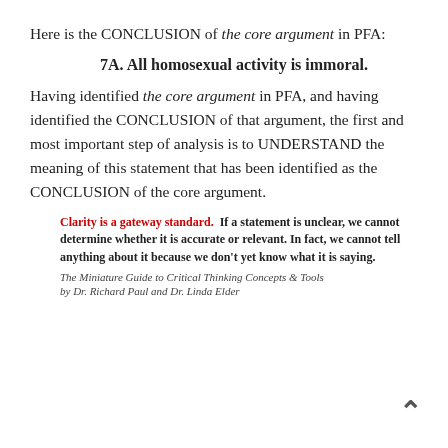Here is the CONCLUSION of the core argument in PFA:
7A. All homosexual activity is immoral.
Having identified the core argument in PFA, and having identified the CONCLUSION of that argument, the first and most important step of analysis is to UNDERSTAND the meaning of this statement that has been identified as the CONCLUSION of the core argument.
Clarity is a gateway standard.  If a statement is unclear, we cannot determine whether it is accurate or relevant. In fact, we cannot tell anything about it because we don't yet know what it is saying.
The Miniature Guide to Critical Thinking Concepts & Tools
by Dr. Richard Paul and Dr. Linda Elder